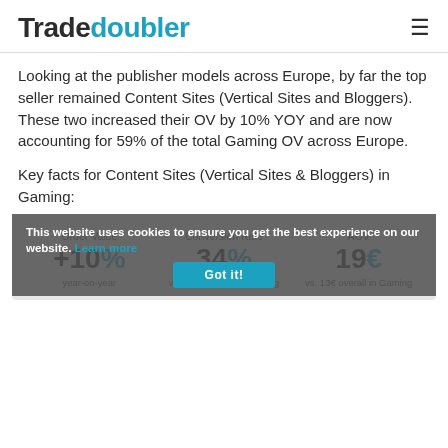Tradedoubler
Looking at the publisher models across Europe, by far the top seller remained Content Sites (Vertical Sites and Bloggers). These two increased their OV by 10% YOY and are now accounting for 59% of the total Gaming OV across Europe.
Key facts for Content Sites (Vertical Sites & Bloggers) in Gaming:
This website uses cookies to ensure you get the best experience on our website. Learn more
| Order Value | Conversion Rate | AOV |
| --- | --- | --- |
| +10% | 34% | 19€ |
| year-on-year | vs. 16% overall in Gaming | vs. 13€ overall in Gaming |